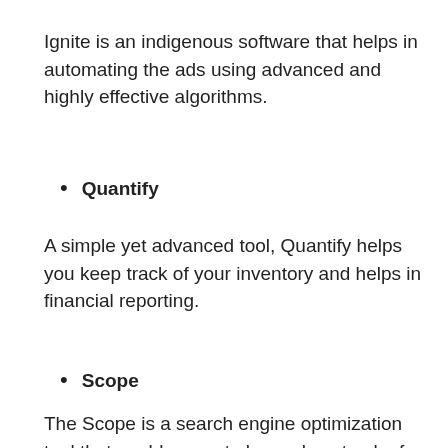Ignite is an indigenous software that helps in automating the ads using advanced and highly effective algorithms.
Quantify
A simple yet advanced tool, Quantify helps you keep track of your inventory and helps in financial reporting.
Scope
The Scope is a search engine optimization tool that enables you to keep close track of